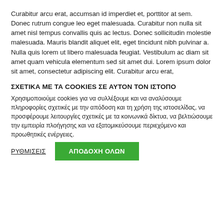Curabitur arcu erat, accumsan id imperdiet et, porttitor at sem. Donec rutrum congue leo eget malesuada. Curabitur non nulla sit amet nisl tempus convallis quis ac lectus. Donec sollicitudin molestie malesuada. Mauris blandit aliquet elit, eget tincidunt nibh pulvinar a. Nulla quis lorem ut libero malesuada feugiat. Vestibulum ac diam sit amet quam vehicula elementum sed sit amet dui. Lorem ipsum dolor sit amet, consectetur adipiscing elit. Curabitur arcu erat,
ΣΧΕΤΙΚΑ ΜΕ ΤΑ COOKIES ΣΕ ΑΥΤΟΝ ΤΟΝ ΙΣΤΟΠΟ
Χρησιμοποιούμε cookies για να συλλέξουμε και να αναλύσουμε πληροφορίες σχετικές με την απόδοση και τη χρήση της ιστοσελίδας, να προσφέρουμε λειτουργίες σχετικές με τα κοινωνικά δίκτυα, να βελτιώσουμε την εμπειρία πλοήγησης και να εξατομικεύσουμε περιεχόμενο και προωθητικές ενέργειες.
ΡΥΘΜΙΣΕΙΣ
ΑΠΟΔΟΧΗ ΟΛΩΝ